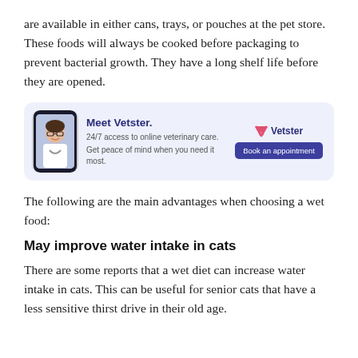are available in either cans, trays, or pouches at the pet store. These foods will always be cooked before packaging to prevent bacterial growth. They have a long shelf life before they are opened.
[Figure (infographic): Vetster advertisement banner with a phone showing a veterinarian, title 'Meet Vetster.', subtitle '24/7 access to online veterinary care. Get peace of mind when you need it most.', Vetster logo with V icon, and a 'Book an appointment' button.]
The following are the main advantages when choosing a wet food:
May improve water intake in cats
There are some reports that a wet diet can increase water intake in cats. This can be useful for senior cats that have a less sensitive thirst drive in their old age.